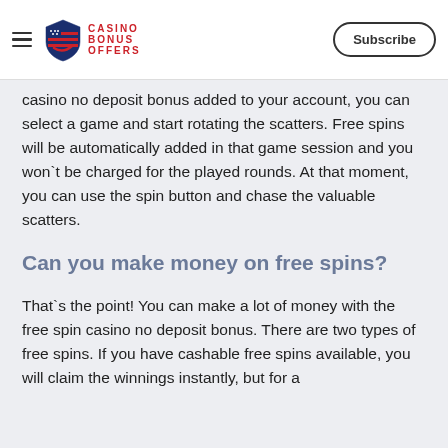US Casino Bonus Offers — Subscribe
casino no deposit bonus added to your account, you can select a game and start rotating the scatters. Free spins will be automatically added in that game session and you won`t be charged for the played rounds. At that moment, you can use the spin button and chase the valuable scatters.
Can you make money on free spins?
That`s the point! You can make a lot of money with the free spin casino no deposit bonus. There are two types of free spins. If you have cashable free spins available, you will claim the winnings instantly, but for a